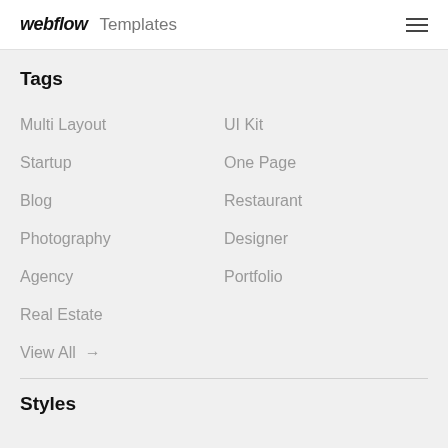webflow Templates
Tags
Multi Layout
UI Kit
Startup
One Page
Blog
Restaurant
Photography
Designer
Agency
Portfolio
Real Estate
View All →
Styles